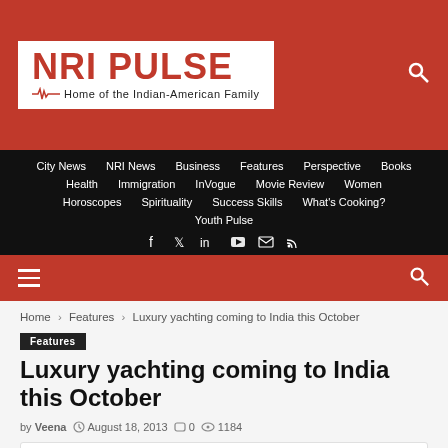[Figure (logo): NRI Pulse logo - Home of the Indian-American Family]
City News  NRI News  Business  Features  Perspective  Books  Health  Immigration  InVogue  Movie Review  Women  Horoscopes  Spirituality  Success Skills  What's Cooking?  Youth Pulse
Home > Features > Luxury yachting coming to India this October
Features
Luxury yachting coming to India this October
by Veena  August 18, 2013  0  1184
SHARE